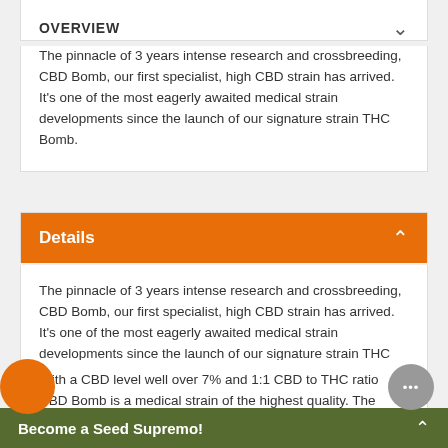OVERVIEW
The pinnacle of 3 years intense research and crossbreeding, CBD Bomb, our first specialist, high CBD strain has arrived. It's one of the most eagerly awaited medical strain developments since the launch of our signature strain THC Bomb.
Details
The pinnacle of 3 years intense research and crossbreeding, CBD Bomb, our first specialist, high CBD strain has arrived. It's one of the most eagerly awaited medical strain developments since the launch of our signature strain THC Bomb.
With a CBD level well over 7% and 1:1 CBD to THC ratio CBD Bomb is a medical strain of the highest quality. The stone is a balance between a deeply relaxing physical feeling with excessive drowsiness. It's a strain that can be enjoyed of day to help manage conditions such as muscle…
Become a Seed Supremo!